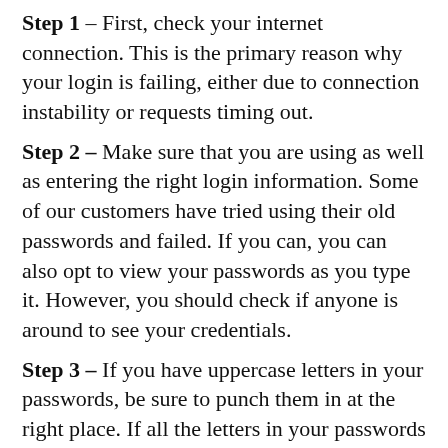Step 1 – First, check your internet connection. This is the primary reason why your login is failing, either due to connection instability or requests timing out.
Step 2 – Make sure that you are using as well as entering the right login information. Some of our customers have tried using their old passwords and failed. If you can, you can also opt to view your passwords as you type it. However, you should check if anyone is around to see your credentials.
Step 3 – If you have uppercase letters in your passwords, be sure to punch them in at the right place. If all the letters in your passwords are in uppercase, check if you're using CAPS LOCK.
Step 4 – If the former steps do not help, it is likely that there are cookies in your cache preventing you from